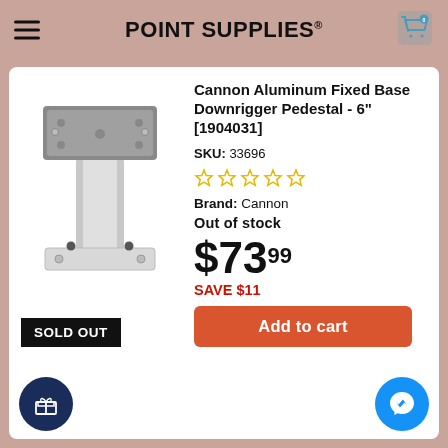POINT SUPPLIES®
Cannon Aluminum Fixed Base Downrigger Pedestal - 6" [1904031]
SKU: 33696
Brand: Cannon
Out of stock
$73.99
SAVE $11
Add to cart
[Figure (photo): Cannon Aluminum Fixed Base Downrigger Pedestal - white metal pedestal with gray top plate, showing SOLD OUT badge]
SOLD OUT